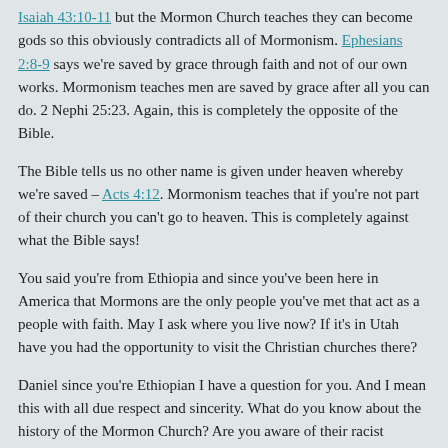Isaiah 43:10-11 but the Mormon Church teaches they can become gods so this obviously contradicts all of Mormonism. Ephesians 2:8-9 says we're saved by grace through faith and not of our own works. Mormonism teaches men are saved by grace after all you can do. 2 Nephi 25:23. Again, this is completely the opposite of the Bible.
The Bible tells us no other name is given under heaven whereby we're saved – Acts 4:12. Mormonism teaches that if you're not part of their church you can't go to heaven. This is completely against what the Bible says!
You said you're from Ethiopia and since you've been here in America that Mormons are the only people you've met that act as a people with faith. May I ask where you live now? If it's in Utah have you had the opportunity to visit the Christian churches there?
Daniel since you're Ethiopian I have a question for you. And I mean this with all due respect and sincerity. What do you know about the history of the Mormon Church? Are you aware of their racist teachings and their past? Did